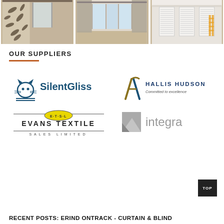[Figure (photo): Three interior photos showing curtains, drapes, and shutters on windows]
OUR SUPPLIERS
[Figure (logo): SilentGliss logo - blue cat icon with SilentGliss text]
[Figure (logo): Hallis Hudson logo - gold H icon with Hallis Hudson Committed to excellence text]
[Figure (logo): Evans Textile Sales Limited logo - yellow oval ETSL badge with company name]
[Figure (logo): Integra logo - grey square icon with integra text]
TOP
RECENT POSTS: ERIND ONTRACK - CURTAIN & BLIND